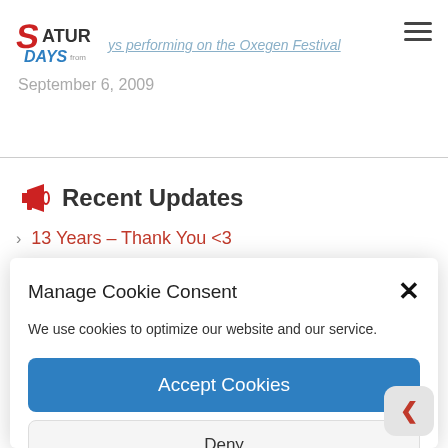Saturdays performing on the Oxegen Festival
September 6, 2009
Recent Updates
13 Years – Thank You <3
Manage Cookie Consent
We use cookies to optimize our website and our service.
Accept Cookies
Deny
View preferences
Cookie Policy